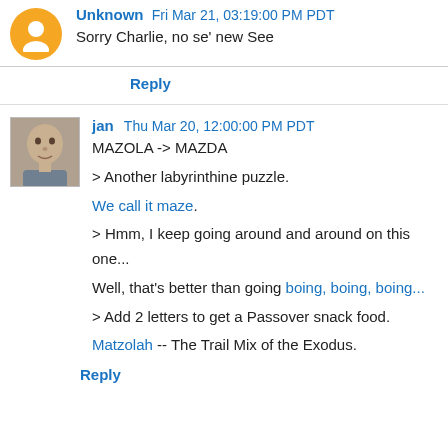Unknown Fri Mar 21, 03:19:00 PM PDT
Sorry Charlie, no se' new See
Reply
jan Thu Mar 20, 12:00:00 PM PDT
MAZOLA -> MAZDA

> Another labyrinthine puzzle.

We call it maze.

> Hmm, I keep going around and around on this one...

Well, that's better than going boing, boing, boing...

> Add 2 letters to get a Passover snack food.

Matzolah -- The Trail Mix of the Exodus.
Reply